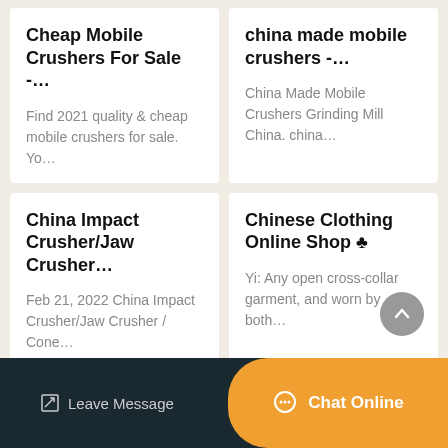Cheap Mobile Crushers For Sale -…
Find 2021 quality & cheap mobile crushers for sale. Yo…
china made mobile crushers -…
China Made Mobile Crushers Grinding Mill China. china…
China Impact Crusher/Jaw Crusher…
Feb 21, 2022 China Impact Crusher/Jaw Crusher / Cone…
Chinese Clothing Online Shop ♣
Yi: Any open cross-collar garment, and worn by both…
Leave Message  Chat Online